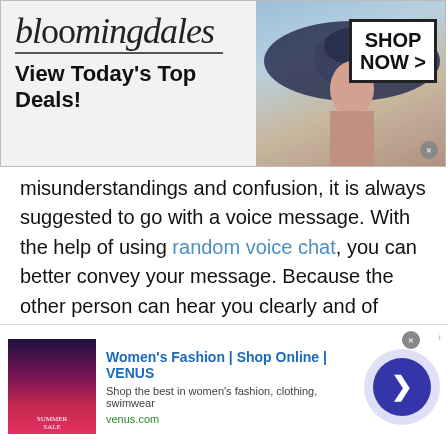[Figure (screenshot): Bloomingdale's advertisement banner: logo on left with 'View Today's Top Deals!', fashion model photo in center, and 'SHOP NOW >' button on right]
misunderstandings and confusion, it is always suggested to go with a voice message. With the help of using random voice chat, you can better convey your message. Because the other person can hear you clearly and of course, understand what you are trying to say.
Voice call
Do you want to talk to strangers in Chad for an
[Figure (screenshot): Bottom advertisement: Women's Fashion | Shop Online | VENUS — Shop the best in women's fashion, clothing, swimwear — venus.com]